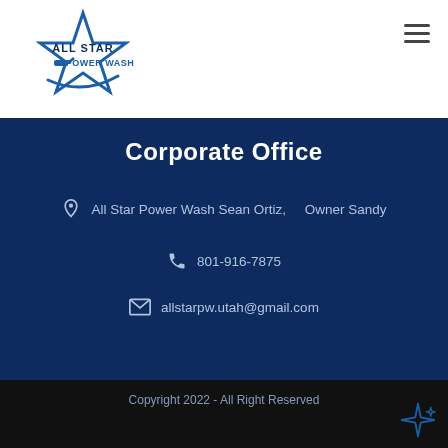[Figure (logo): All Star Power Wash logo — blue star outline with 'ALL STAR' and 'POWER WASH' text and a curved wash line]
Corporate Office
All Star Power Wash Sean Ortiz,   Owner Sandy
801-916-7875
allstarpw.utah@gmail.com
Copyright 2022 - All Right Reserved